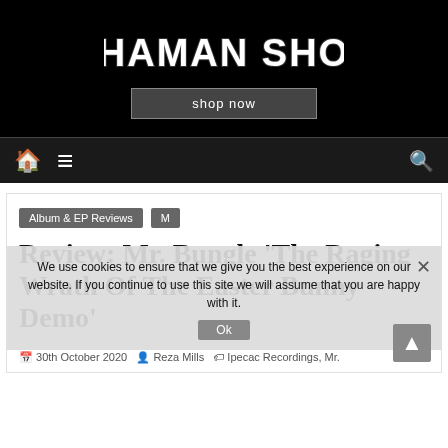[Figure (logo): Shaman Shop banner with distressed white text on black background and a 'shop now' button]
Home | Menu | Search navigation bar
Album & EP Reviews
M
Review: Mr. Bungle 'The Raging Wrath Of The Easter Bunny Demo'
We use cookies to ensure that we give you the best experience on our website. If you continue to use this site we will assume that you are happy with it.
30th October 2020  Reza Mills  Ipecac Recordings, Mr.